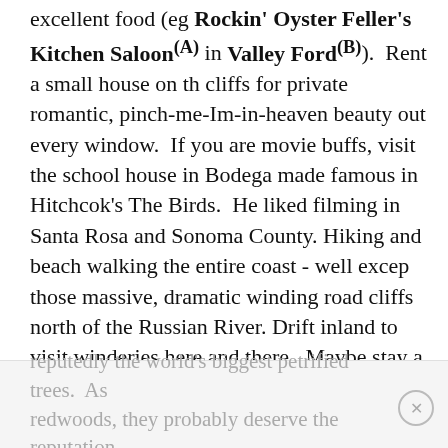excellent food (eg Rockin' Oyster Feller's Kitchen Saloon(A) in Valley Ford(B)). Rent a small house on th cliffs for private romantic, pinch-me-Im-in-heaven beauty out every window.  If you are movie buffs, visit the school house in Bodega made famous in Hitchcok's The Birds.  He liked filming in Santa Rosa and Sonoma County. Hiking and beach walking the entire coast - well excep those massive, dramatic winding road cliffs north of the Russian River. Drift inland to visit winderies here and there.  Maybe stay a night or two in Healdsburg(C), wandering the cute little town (a mecca for foodies) and drive out Dry Creek Park(D) to visit about 30 different pretty little wineries.  On the way there, follow the Russian River inland and take a one mile detour north of Guerneville to Armstrong Redwoods(E) ancient grove. If either of you is sciency - cross over to the eastern border of the county and visit the Petrified Forest -
reputedly the world's biggest petrified trees.  As redwoods, they probably deserve the reputation.